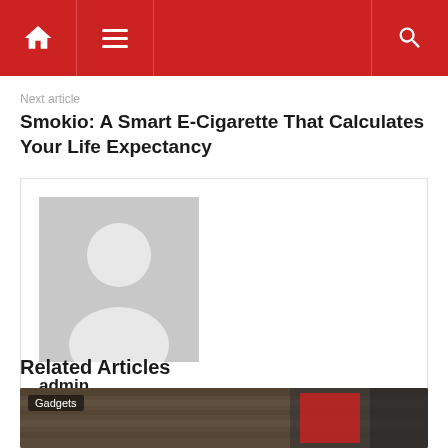Navigation bar with home, menu, and search icons
Next article
Smokio: A Smart E-Cigarette That Calculates Your Life Expectancy
[Figure (photo): Default user avatar — grey silhouette placeholder image for author 'admin']
admin
Related Articles
[Figure (photo): Related article thumbnail image with 'Gadgets' category label overlay]